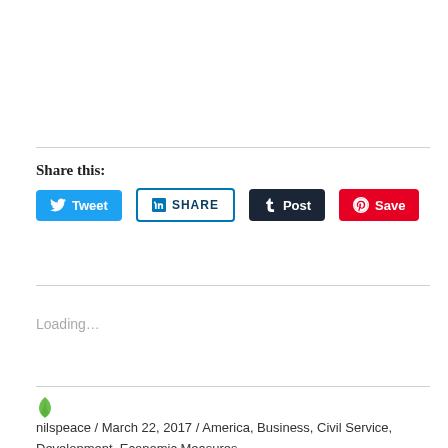Share this:
[Figure (screenshot): Social sharing buttons: Tweet (Twitter, blue), SHARE (LinkedIn, dark blue outline), Post (Tumblr, dark navy), Save (Pinterest, red)]
Loading...
nilspeace / March 22, 2017 / America, Business, Civil Service, Development, Economic Measures,